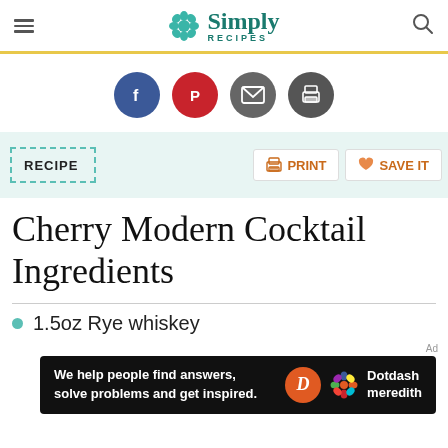Simply Recipes
[Figure (other): Social sharing icons: Facebook, Pinterest, Email, Print]
RECIPE
Cherry Modern Cocktail Ingredients
1.5oz Rye whiskey
[Figure (other): Dotdash Meredith advertisement banner: 'We help people find answers, solve problems and get inspired.']